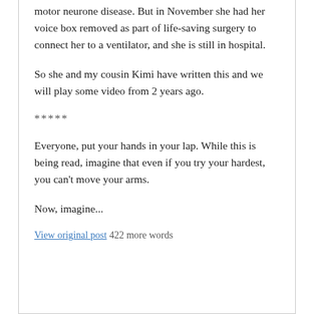motor neurone disease. But in November she had her voice box removed as part of life-saving surgery to connect her to a ventilator, and she is still in hospital.
So she and my cousin Kimi have written this and we will play some video from 2 years ago.
*****
Everyone, put your hands in your lap. While this is being read, imagine that even if you try your hardest, you can't move your arms.
Now, imagine...
View original post 422 more words